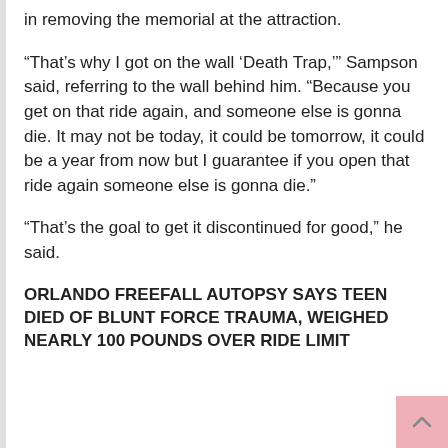in removing the memorial at the attraction.
“That’s why I got on the wall ‘Death Trap,’” Sampson said, referring to the wall behind him. “Because you get on that ride again, and someone else is gonna die. It may not be today, it could be tomorrow, it could be a year from now but I guarantee if you open that ride again someone else is gonna die.”
“That’s the goal to get it discontinued for good,” he said.
ORLANDO FREEFALL AUTOPSY SAYS TEEN DIED OF BLUNT FORCE TRAUMA, WEIGHED NEARLY 100 POUNDS OVER RIDE LIMIT